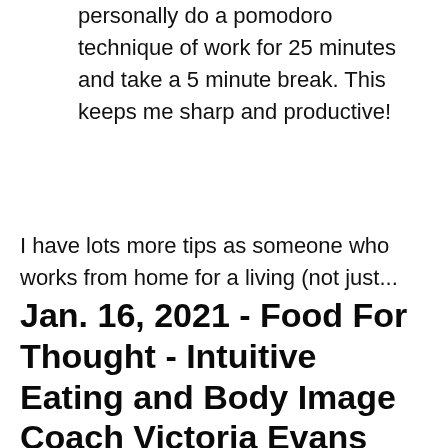personally do a pomodoro technique of work for 25 minutes and take a 5 minute break. This keeps me sharp and productive!
I have lots more tips as someone who works from home for a living (not just...
Jan. 16, 2021 - Food For Thought - Intuitive Eating and Body Image Coach Victoria Evans